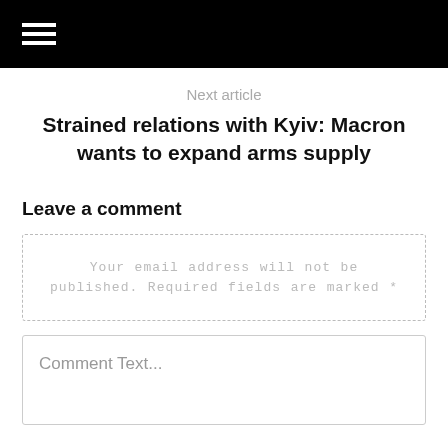Next article
Strained relations with Kyiv: Macron wants to expand arms supply
Leave a comment
Your email address will not be published. Required fields are marked *
Comment Text...